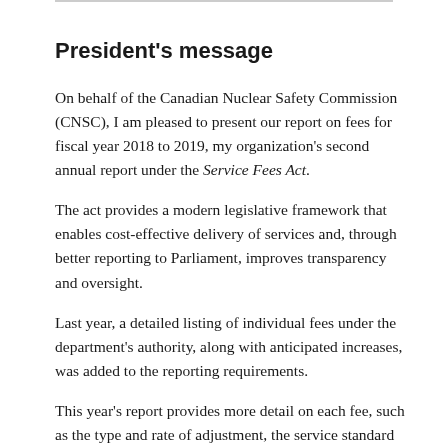President's message
On behalf of the Canadian Nuclear Safety Commission (CNSC), I am pleased to present our report on fees for fiscal year 2018 to 2019, my organization's second annual report under the Service Fees Act.
The act provides a modern legislative framework that enables cost-effective delivery of services and, through better reporting to Parliament, improves transparency and oversight.
Last year, a detailed listing of individual fees under the department's authority, along with anticipated increases, was added to the reporting requirements.
This year's report provides more detail on each fee, such as the type and rate of adjustment, the service standard and the performance result. This information provides additional context on each fee, in the spirit of open and transparent fee